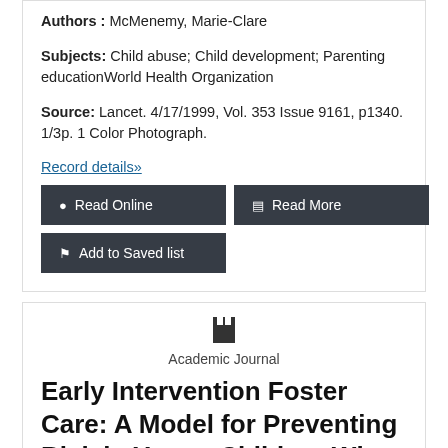Authors : McMenemy, Marie-Clare
Subjects: Child abuse; Child development; Parenting educationWorld Health Organization
Source: Lancet. 4/17/1999, Vol. 353 Issue 9161, p1340. 1/3p. 1 Color Photograph.
Record details»
Read Online
Read More
Add to Saved list
Academic Journal
Early Intervention Foster Care: A Model for Preventing Risk in Young Children Who